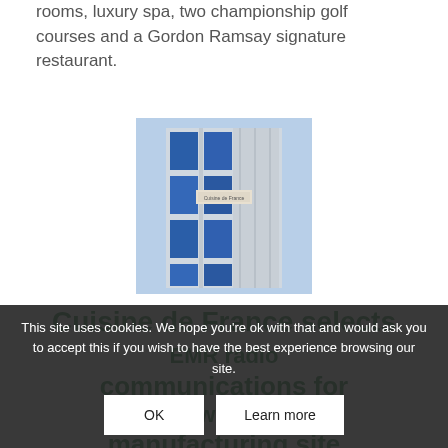rooms, luxury spa, two championship golf courses and a Gordon Ramsay signature restaurant.
[Figure (photo): Exterior view of a modern building with blue glass windows and a sign, partial view]
Cuisine de France selects EMR radio communications for Newcastle manufacturing site
This site uses cookies. We hope you're ok with that and would ask you to accept this if you wish to have the best experience browsing our site.